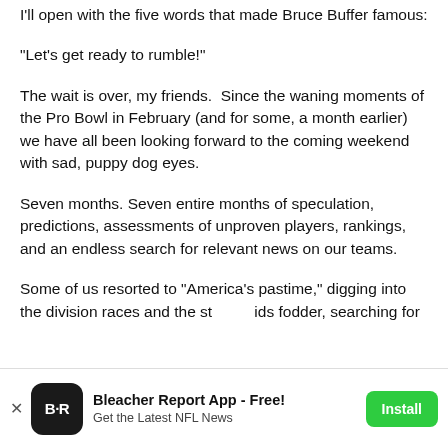I'll open with the five words that made Bruce Buffer famous:
"Let's get ready to rumble!"
The wait is over, my friends.  Since the waning moments of the Pro Bowl in February (and for some, a month earlier) we have all been looking forward to the coming weekend with sad, puppy dog eyes.
Seven months. Seven entire months of speculation, predictions, assessments of unproven players, rankings, and an endless search for relevant news on our teams.
Some of us resorted to "America's pastime," digging into the division races and the steroids fodder, searching for the thin mint of the pleasure we so frantically longed...
[Figure (other): Bleacher Report App advertisement banner with app icon showing B/R letters, title 'Bleacher Report App - Free!', subtitle 'Get the Latest NFL News', and a green Install button. A dismiss X button is shown on the left and a circular close overlay appears over the content.]